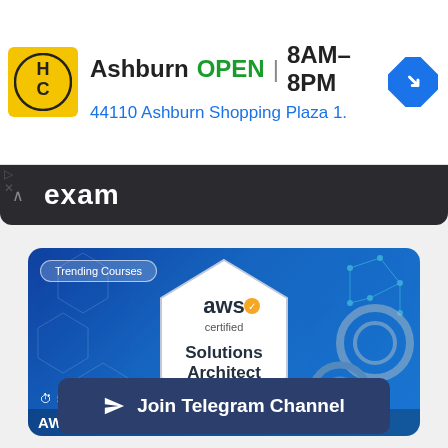[Figure (screenshot): Ad banner for Harbor Freight Tools Ashburn location showing logo, OPEN status, hours 8AM-8PM, address 44110 Ashburn Shopping Plaza 1., and navigation icon]
exam
[Figure (screenshot): AWS Certified Solutions Architect course card with blue background, Trending Courses badge, AWS certified Solutions Architect Associate badge, posted 5 hours ago]
Join Telegram Channel